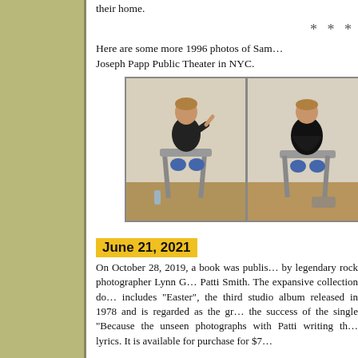their home.
* * *
Here are some more 1996 photos of Sam… Joseph Papp Public Theater in NYC.
[Figure (photo): Two side-by-side black and white photographs from 1996 of a person sitting on a folding chair against a white backdrop, in different poses.]
June 21, 2021
On October 28, 2019, a book was published by legendary rock photographer Lynn G… Patti Smith. The expansive collection do… includes "Easter", the third studio album released in 1978 and is regarded as the gr… the success of the single "Because the unseen photographs with Patti writing th… lyrics. It is available for purchase for $7…